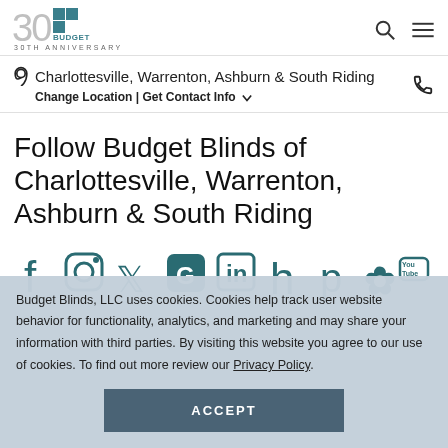Budget Blinds 30th Anniversary
Charlottesville, Warrenton, Ashburn & South Riding | Change Location | Get Contact Info
Follow Budget Blinds of Charlottesville, Warrenton, Ashburn & South Riding
[Figure (other): Social media icons row: Facebook, Instagram, Twitter, Google, LinkedIn, Houzz, Pinterest, Yelp, YouTube]
Budget Blinds, LLC uses cookies. Cookies help track user website behavior for functionality, analytics, and marketing and may share your information with third parties. By visiting this website you agree to our use of cookies. To find out more review our Privacy Policy.
ACCEPT